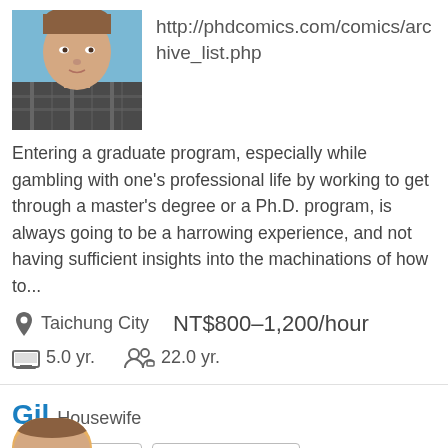[Figure (photo): Profile photo of a person wearing a plaid/checkered shirt, blue background, cropped to head and upper torso.]
http://phdcomics.com/comics/archive_list.php
Entering a graduate program, especially while gambling with one’s professional life by working to get through a master’s degree or a Ph.D. program, is always going to be a harrowing experience, and not having sufficient insights into the machinations of how to...
Taichung City   NT$800–1,200/hour
5.0 yr.   22.0 yr.
Gil  Housewife
Basic english
Filipino/Tagalog
[Figure (photo): Partial view of a second profile photo at the bottom of the page, showing what appears to be the top of a head.]